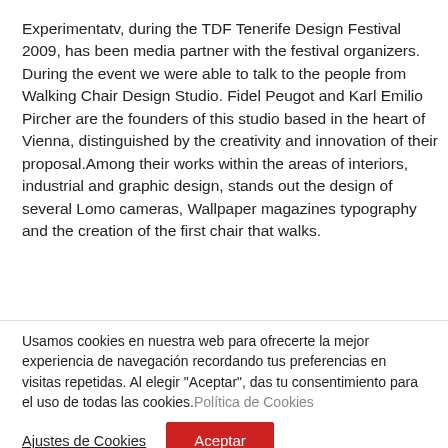Experimentatv, during the TDF Tenerife Design Festival 2009, has been media partner with the festival organizers. During the event we were able to talk to the people from Walking Chair Design Studio. Fidel Peugot and Karl Emilio Pircher are the founders of this studio based in the heart of Vienna, distinguished by the creativity and innovation of their proposal.Among their works within the areas of interiors, industrial and graphic design, stands out the design of several Lomo cameras, Wallpaper magazines typography and the creation of the first chair that walks.
Usamos cookies en nuestra web para ofrecerte la mejor experiencia de navegación recordando tus preferencias en visitas repetidas. Al elegir "Aceptar", das tu consentimiento para el uso de todas las cookies. Política de Cookies
Ajustes de Cookies
Aceptar